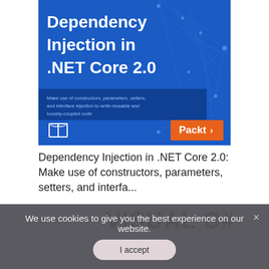[Figure (illustration): Book cover for 'Dependency Injection in .NET Core 2.0' published by Packt. Blue background with network/node diagram overlay. Title in large white bold text. Subtitle in smaller text on a darker blue band. Open book icon at bottom left. Orange Packt logo at bottom right.]
Dependency Injection in .NET Core 2.0: Make use of constructors, parameters, setters, and interfa...
[Figure (illustration): Partial book cover for 'Starting out with Visual C#' ninth edition. Shows 'starting out with >>>' text and large green 'VISUAL C#' title. Partially obscured by cookie consent bar.]
We use cookies to give you the best experience on our website.
I accept